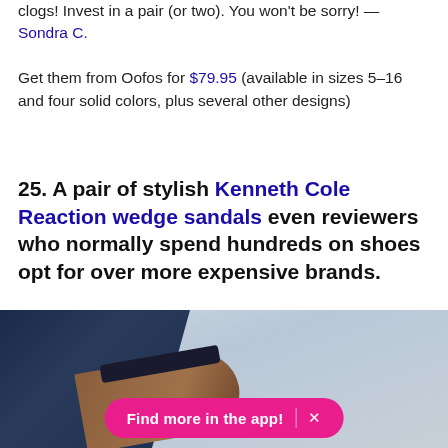clogs! Invest in a pair (or two). You won't be sorry! — Sondra C.

Get them from Oofos for $79.95 (available in sizes 5–16 and four solid colors, plus several other designs)
25. A pair of stylish Kenneth Cole Reaction wedge sandals even reviewers who normally spend hundreds on shoes opt for over more expensive brands.
[Figure (photo): Photo of someone wearing Kenneth Cole Reaction wedge sandals with blue jeans, with a pink 'Find more in the app!' banner overlay at the bottom]